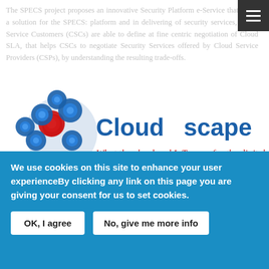The SPECS project proposes an innovative Security Platform e-Service that offers a solution for the SPECS... platform and in delivering of security services, ... Cloud Service Customers (CSCs) are able to define at fine centric negotiation of Cloud SLA, that helps CSCs to negotiate Security Services offered by Cloud Service Providers (CSPs), by understanding the resulting trade-offs.
[Figure (logo): Cloudscape2016 conference logo with blue spiral cloud icon on left, 'Cloudscape2016' text in blue and red, tagline 'What the cloud and IoT mean for the digital single mar...' in red italic, and '8-9 March 2016, Brussels, Belgium | REGISTER NOW' below]
We use cookies on this site to enhance your user experienceBy clicking any link on this page you are giving your consent for us to set cookies.
OK, I agree
No, give me more info